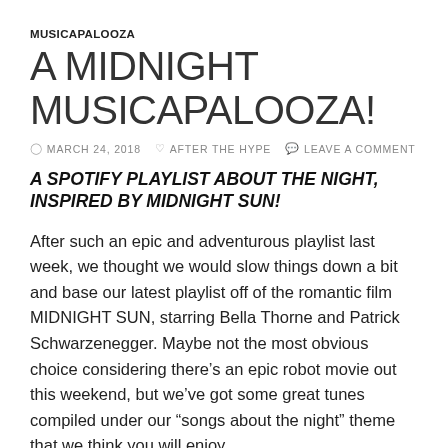MUSICAPALOOZA
A MIDNIGHT MUSICAPALOOZA!
MARCH 24, 2018   AFTER THE HYPE   LEAVE A COMMENT
A SPOTIFY PLAYLIST ABOUT THE NIGHT, INSPIRED BY MIDNIGHT SUN!
After such an epic and adventurous playlist last week, we thought we would slow things down a bit and base our latest playlist off of the romantic film MIDNIGHT SUN, starring Bella Thorne and Patrick Schwarzenegger. Maybe not the most obvious choice considering there’s an epic robot movie out this weekend, but we’ve got some great tunes compiled under our “songs about the night” theme that we think you will enjoy.
Continue reading →